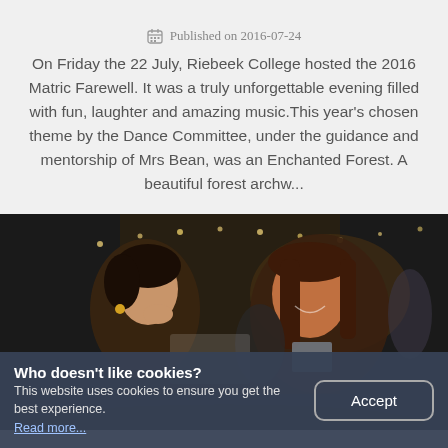Published on 2016-07-24
On Friday the 22 July, Riebeek College hosted the 2016 Matric Farewell. It was a truly unforgettable evening filled with fun, laughter and amazing music.This year's chosen theme by the Dance Committee, under the guidance and mentorship of Mrs Bean, was an Enchanted Forest. A beautiful forest archw...
[Figure (photo): Two women at what appears to be a school farewell/prom event, laughing and smiling at each other in a dimly lit venue with string lights in the background.]
Who doesn't like cookies?
This website uses cookies to ensure you get the best experience.
Read more...